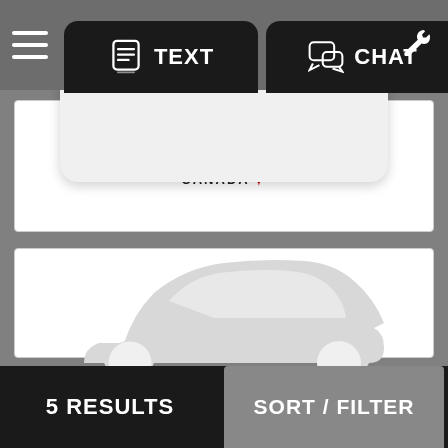[Figure (screenshot): Mobile app top navigation bar with hamburger menu, TEXT and CHAT buttons]
[Figure (logo): CarMax Canada logo]
[Figure (illustration): Light grey car silhouette placeholder image]
5 RESULTS
SORT / FILTER